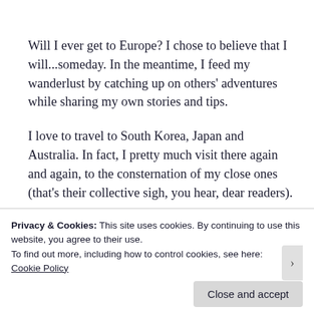Will I ever get to Europe? I chose to believe that I will...someday. In the meantime, I feed my wanderlust by catching up on others' adventures while sharing my own stories and tips.
I love to travel to South Korea, Japan and Australia. In fact, I pretty much visit there again and again, to the consternation of my close ones (that's their collective sigh, you hear, dear readers).
Other than that, I also happen to enjoy...
Privacy & Cookies: This site uses cookies. By continuing to use this website, you agree to their use.
To find out more, including how to control cookies, see here:
Cookie Policy
Close and accept